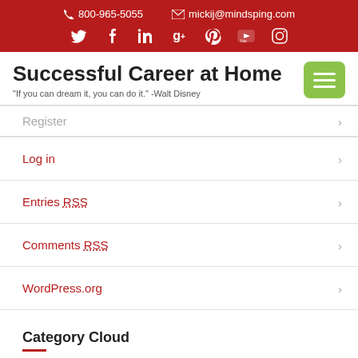800-965-5055 | mickij@mindsping.com
Register
Log in
Entries RSS
Comments RSS
WordPress.org
Successful Career at Home
"If you can dream it, you can do it." -Walt Disney
Category Cloud